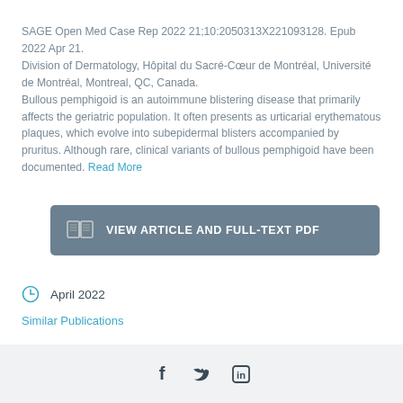SAGE Open Med Case Rep 2022 21;10:2050313X221093128. Epub 2022 Apr 21. Division of Dermatology, Hôpital du Sacré-Cœur de Montréal, Université de Montréal, Montreal, QC, Canada. Bullous pemphigoid is an autoimmune blistering disease that primarily affects the geriatric population. It often presents as urticarial erythematous plaques, which evolve into subepidermal blisters accompanied by pruritus. Although rare, clinical variants of bullous pemphigoid have been documented. Read More
[Figure (other): Button labeled VIEW ARTICLE AND FULL-TEXT PDF with an open-book icon on a gray-blue background]
April 2022
Similar Publications
[Figure (other): Social share icons: Facebook (f), Twitter (bird), LinkedIn (in)]